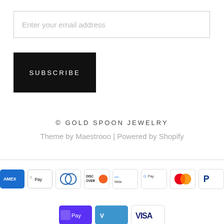Enter your email address
SUBSCRIBE
© GOLD SPOON JEWELRY
Theme by Maestrooo | Powered by Shopify
[Figure (other): Payment method icons: American Express, Apple Pay, Diners Club, Discover, Meta Pay, Google Pay, Mastercard, PayPal, Shop Pay, Venmo, Visa]